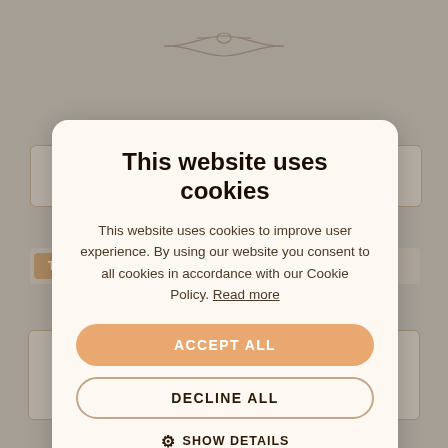[Figure (screenshot): Background of an e-commerce website with decorative ornaments, filter box, sort bar showing Top-selling / price low to high / price high to low, pagination (1, 2, >), product count text 'Product (1-15 from 19)', and a product link 'Mjöllni pendant, Thor's hammer on a leather strap'. The background is partially visible behind a cookie consent modal overlay.]
This website uses cookies
This website uses cookies to improve user experience. By using our website you consent to all cookies in accordance with our Cookie Policy. Read more
ACCEPT ALL
DECLINE ALL
⚙ SHOW DETAILS